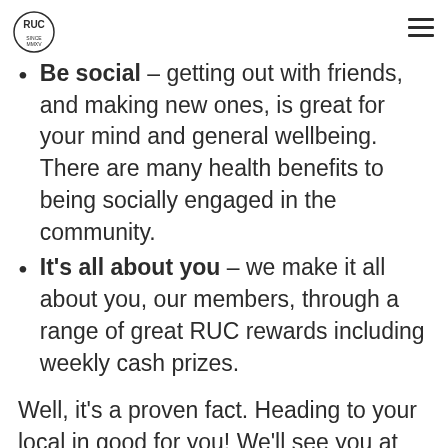RUC logo and navigation menu
Be social – getting out with friends, and making new ones, is great for your mind and general wellbeing. There are many health benefits to being socially engaged in the community.
It's all about you – we make it all about you, our members, through a range of great RUC rewards including weekly cash prizes.
Well, it's a proven fact. Heading to your local in good for you! We'll see you at the RUC soon.
Image: Instagrammer @eiki85